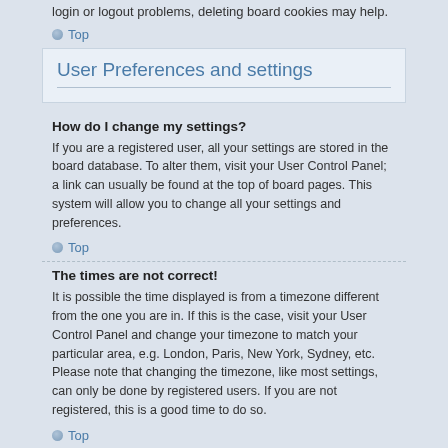login or logout problems, deleting board cookies may help.
Top
User Preferences and settings
How do I change my settings?
If you are a registered user, all your settings are stored in the board database. To alter them, visit your User Control Panel; a link can usually be found at the top of board pages. This system will allow you to change all your settings and preferences.
Top
The times are not correct!
It is possible the time displayed is from a timezone different from the one you are in. If this is the case, visit your User Control Panel and change your timezone to match your particular area, e.g. London, Paris, New York, Sydney, etc. Please note that changing the timezone, like most settings, can only be done by registered users. If you are not registered, this is a good time to do so.
Top
I changed the timezone and the time is still wrong!
If you are sure you have set the timezone and Summer Time/DST correctly and the time is still incorrect, then the time stored on the server clock is incorrect. Please notify an administrator to correct the problem.
Top
My language is not in the list!
Either the administrator has not installed your language or nobody has translate